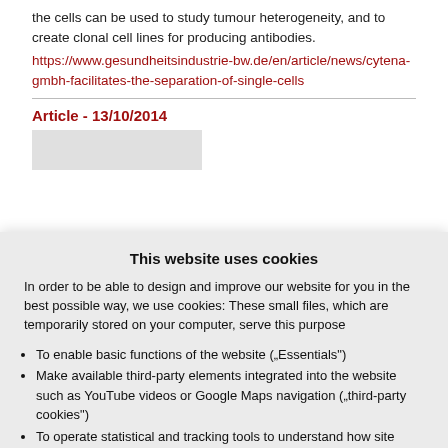the cells can be used to study tumour heterogeneity, and to create clonal cell lines for producing antibodies.
https://www.gesundheitsindustrie-bw.de/en/article/news/cytena-gmbh-facilitates-the-separation-of-single-cells
Article - 13/10/2014
[Figure (photo): Partially visible image placeholder below article header]
This website uses cookies
In order to be able to design and improve our website for you in the best possible way, we use cookies: These small files, which are temporarily stored on your computer, serve this purpose
To enable basic functions of the website („Essentials“)
Make available third-party elements integrated into the website such as YouTube videos or Google Maps navigation („third-party cookies“)
To operate statistical and tracking tools to understand how site visitors use the site and to implement